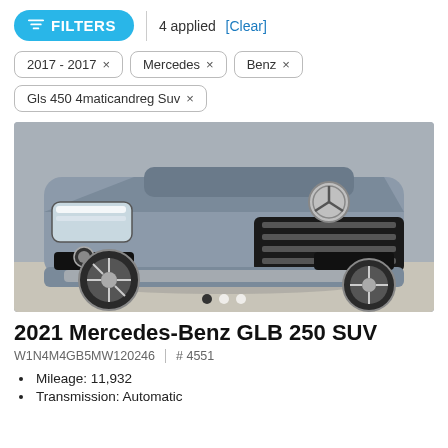[Figure (screenshot): Filter bar with cyan FILTERS button, '4 applied' text, and [Clear] link]
2017 - 2017 ×
Mercedes ×
Benz ×
Gls 450 4maticandreg Suv ×
[Figure (photo): Front view of a silver/grey 2021 Mercedes-Benz GLB 250 SUV parked outdoors]
2021 Mercedes-Benz GLB 250 SUV
W1N4M4GB5MW120246  |  # 4551
Mileage: 11,932
Transmission: Automatic